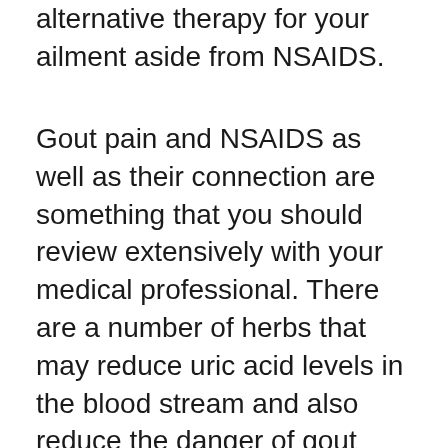alternative therapy for your ailment aside from NSAIDS.
Gout pain and NSAIDS as well as their connection are something that you should review extensively with your medical professional. There are a number of herbs that may reduce uric acid levels in the blood stream and also reduce the danger of gout pain assaults. One such natural herb that is typically suggested by holistic physicians and also nutritionists is Milk Thistle. Milk Thistle can be taken in supplement type or as a tea. It has been shown to prevent the development of uric acids by battling the enzymes that trigger purine metabolic rate. Researches have also shown that by taking Milk Thistle daily the risk of gout as well as